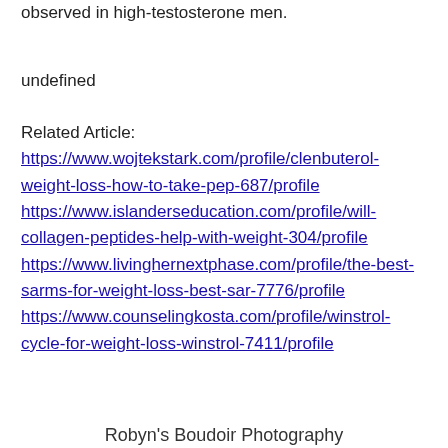observed in high-testosterone men.
undefined
Related Article:
https://www.wojtekstark.com/profile/clenbuterol-weight-loss-how-to-take-pep-687/profile
https://www.islanderseducation.com/profile/will-collagen-peptides-help-with-weight-304/profile
https://www.livinghernextphase.com/profile/the-best-sarms-for-weight-loss-best-sar-7776/profile
https://www.counselingkosta.com/profile/winstrol-cycle-for-weight-loss-winstrol-7411/profile
Robyn's Boudoir Photography